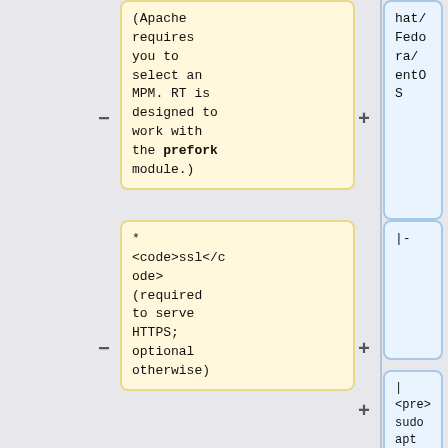(Apache requires you to select an MPM. RT is designed to work with the prefork module.)
hat/Fedora/CentOS
* <code>ssl</code> (required to serve HTTPS; optional otherwise)
|-
|<pre>sudo apt install nginx</pre>